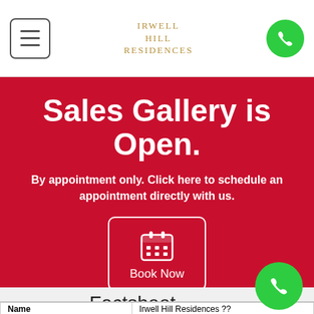IRWELL HILL RESIDENCES
Sales Gallery is Open.
By appointment only. Click here to schedule an appointment directly with us.
[Figure (other): Book Now button with calendar icon inside a white border box]
Factsheet
Developer Sales Team
| Name |  |
| --- | --- |
| Name | Irwell Hill Residences ?? |